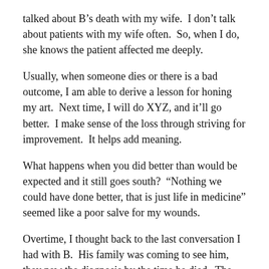talked about B’s death with my wife.  I don’t talk about patients with my wife often.  So, when I do, she knows the patient affected me deeply.
Usually, when someone dies or there is a bad outcome, I am able to derive a lesson for honing my art.  Next time, I will do XYZ, and it’ll go better.  I make sense of the loss through striving for improvement.  It helps add meaning.
What happens when you did better than would be expected and it still goes south?  “Nothing we could have done better, that is just life in medicine” seemed like a poor salve for my wounds.
Overtime, I thought back to the last conversation I had with B.  His family was coming to see him, they new the diagnosis by the time he died.  The grief doesn’t disappear because of knowledge, but every